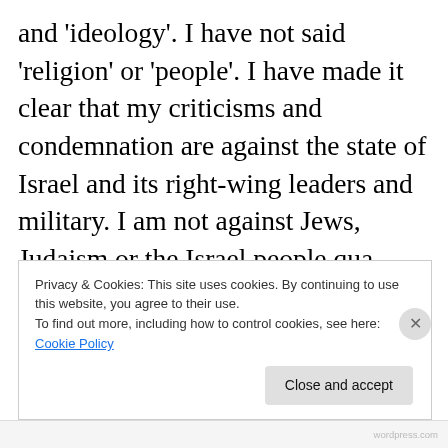and 'ideology'. I have not said 'religion' or 'people'. I have made it clear that my criticisms and condemnation are against the state of Israel and its right-wing leaders and military. I am not against Jews, Judaism or the Israel people qua Jews, Judaism or the Israeli people. I have said that anti-Semitism, in the words of its founder, was about hatred of Jews
Privacy & Cookies: This site uses cookies. By continuing to use this website, you agree to their use. To find out more, including how to control cookies, see here: Cookie Policy